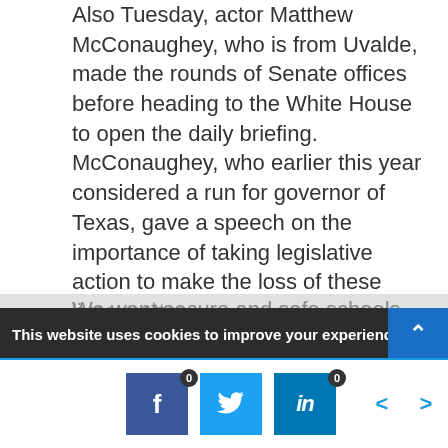Also Tuesday, actor Matthew McConaughey, who is from Uvalde, made the rounds of Senate offices before heading to the White House to open the daily briefing. McConaughey, who earlier this year considered a run for governor of Texas, gave a speech on the importance of taking legislative action to make the loss of these lives matter.
We want secure and safe schools and we want gun laws that won't make it so easy for the bad guys to get the damn guns, he said. The 52-year-old actor and his wife drove to Uvalde on the day after the shooting and spent time with some of the victims' families.
On Wednesday, the House Oversight Committee is expected to hear from more victims' families and from
This website uses cookies to improve your experience. We'll as